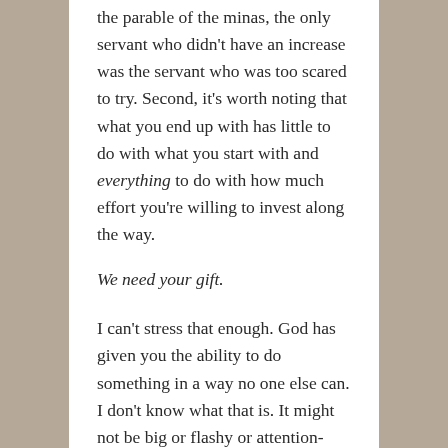the parable of the minas, the only servant who didn't have an increase was the servant who was too scared to try. Second, it's worth noting that what you end up with has little to do with what you start with and everything to do with how much effort you're willing to invest along the way.
We need your gift.
I can't stress that enough. God has given you the ability to do something in a way no one else can. I don't know what that is. It might not be big or flashy or attention-